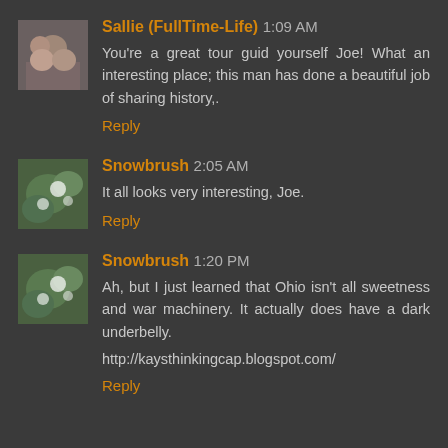Sallie (FullTime-Life) 1:09 AM
You're a great tour guid yourself Joe! What an interesting place; this man has done a beautiful job of sharing history,.
Reply
Snowbrush 2:05 AM
It all looks very interesting, Joe.
Reply
Snowbrush 1:20 PM
Ah, but I just learned that Ohio isn't all sweetness and war machinery. It actually does have a dark underbelly.
http://kaysthinkingcap.blogspot.com/
Reply